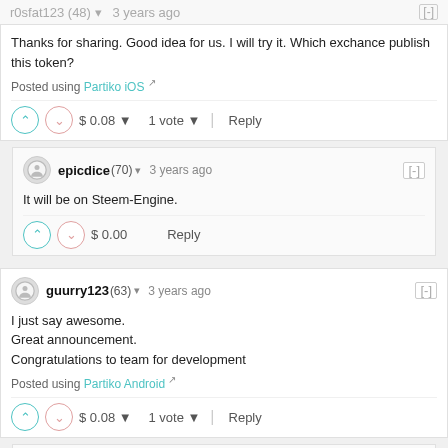r0sfat123 (48) · 3 years ago
Thanks for sharing. Good idea for us. I will try it. Which exchance publish this token?
Posted using Partiko iOS
$ 0.08  1 vote  Reply
epicdice (70) · 3 years ago
It will be on Steem-Engine.
$ 0.00  Reply
guurry123 (63) · 3 years ago
I just say awesome.
Great announcement.
Congratulations to team for development
Posted using Partiko Android
$ 0.08  1 vote  Reply
epicdice (70) · 3 years ago